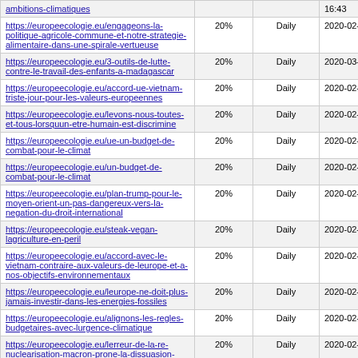| https://europeecologie.eu/ambitions-climatiques |  |  | 16:43 |
| https://europeecologie.eu/engageons-la-politique-agricole-commune-et-notre-strategie-alimentaire-dans-une-spirale-vertueuse | 20% | Daily | 2020-02-13 16:28 |
| https://europeecologie.eu/3-outils-de-lutte-contre-le-travail-des-enfants-a-madagascar | 20% | Daily | 2020-03-27 16:43 |
| https://europeecologie.eu/accord-ue-vietnam-triste-jour-pour-les-valeurs-europeennes | 20% | Daily | 2020-02-13 08:28 |
| https://europeecologie.eu/levons-nous-toutes-et-tous-lorsquun-etre-humain-est-discrimine | 20% | Daily | 2020-02-13 08:24 |
| https://europeecologie.eu/ue-un-budget-de-combat-pour-le-climat | 20% | Daily | 2020-02-12 17:00 |
| https://europeecologie.eu/un-budget-de-combat-pour-le-climat | 20% | Daily | 2020-02-12 17:11 |
| https://europeecologie.eu/plan-trump-pour-le-moyen-orient-un-pas-dangereux-vers-la-negation-du-droit-international | 20% | Daily | 2020-02-12 11:50 |
| https://europeecologie.eu/steak-vegan-lagriculture-en-peril | 20% | Daily | 2020-02-12 10:19 |
| https://europeecologie.eu/accord-avec-le-vietnam-contraire-aux-valeurs-de-leurope-et-a-nos-objectifs-environnementaux | 20% | Daily | 2020-02-11 17:29 |
| https://europeecologie.eu/leurope-ne-doit-plus-jamais-investir-dans-les-energies-fossiles | 20% | Daily | 2020-02-11 17:19 |
| https://europeecologie.eu/alignons-les-regles-budgetaires-avec-lurgence-climatique | 20% | Daily | 2020-02-11 17:31 |
| https://europeecologie.eu/lerreur-de-la-re-nuclearisation-macron-prone-la-dissuasion-plutot-que-le-desarmement-de-lue | 20% | Daily | 2020-02-07 14:13 |